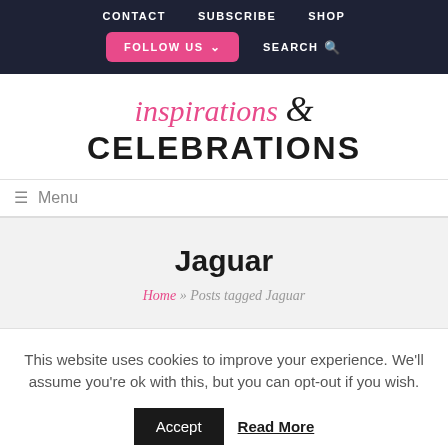CONTACT   SUBSCRIBE   SHOP   FOLLOW US ∨   SEARCH 🔍
inspirations & CELEBRATIONS
≡ Menu
Jaguar
Home » Posts tagged Jaguar
This website uses cookies to improve your experience. We'll assume you're ok with this, but you can opt-out if you wish.
Accept   Read More